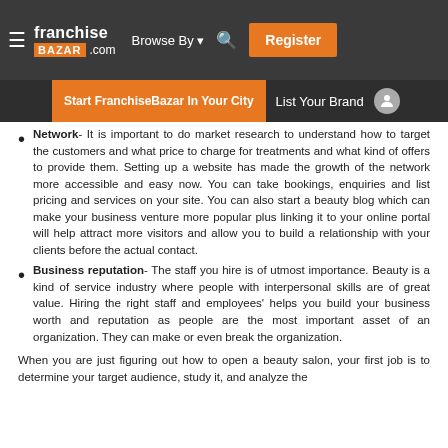franchise BAZAR .com | Browse By | Register
Start FranchiseBazar In Your City | List Your Brand
Network- It is important to do market research to understand how to target the customers and what price to charge for treatments and what kind of offers to provide them. Setting up a website has made the growth of the network more accessible and easy now. You can take bookings, enquiries and list pricing and services on your site. You can also start a beauty blog which can make your business venture more popular plus linking it to your online portal will help attract more visitors and allow you to build a relationship with your clients before the actual contact.
Business reputation- The staff you hire is of utmost importance. Beauty is a kind of service industry where people with interpersonal skills are of great value. Hiring the right staff and employees' helps you build your business worth and reputation as people are the most important asset of an organization. They can make or even break the organization.
When you are just figuring out how to open a beauty salon, your first job is to determine your target audience, study it, and analyze the